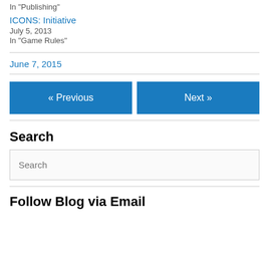In "Publishing"
ICONS: Initiative
July 5, 2013
In "Game Rules"
June 7, 2015
« Previous
Next »
Search
Search
Follow Blog via Email